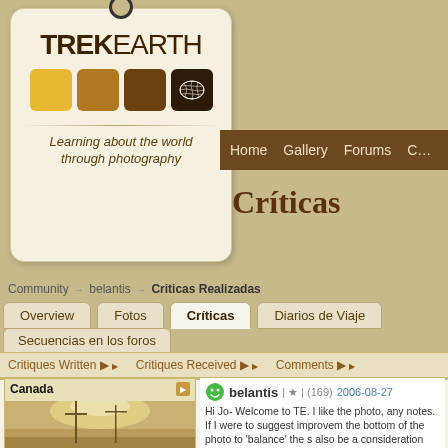[Figure (logo): TrekEarth logo tag showing TREKEARTH text, colored squares, world map icon, and tagline 'Learning about the world through photography']
Home  Gallery  Forums  C...
Críticas
Community → belantis → Criticas Realizadas
Overview
Fotos
Críticas
Diarios de Viaje
Secuencias en los foros
Critiques Written ▶   Critiques Received ▶   Comments ▶
[Figure (photo): Sepia-toned foggy harbor/marina scene in Canada with boats and utility pole visible in mist]
Canada
belantis | ★ | (169) 2006-08-27
Hi Jo- Welcome to TE. I like the photo, any notes. If I were to suggest improvement the bottom of the photo to 'balance' the s also be a consideration since there is little peaceful morning.